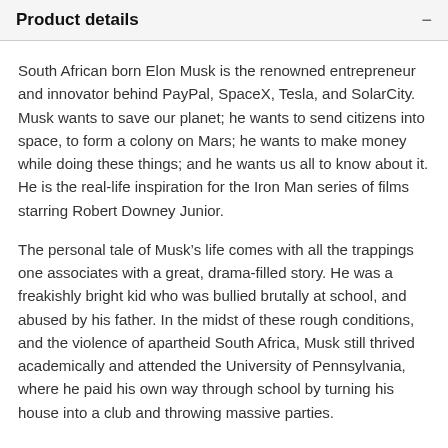Product details
South African born Elon Musk is the renowned entrepreneur and innovator behind PayPal, SpaceX, Tesla, and SolarCity. Musk wants to save our planet; he wants to send citizens into space, to form a colony on Mars; he wants to make money while doing these things; and he wants us all to know about it. He is the real-life inspiration for the Iron Man series of films starring Robert Downey Junior.
The personal tale of Musk’s life comes with all the trappings one associates with a great, drama-filled story. He was a freakishly bright kid who was bullied brutally at school, and abused by his father. In the midst of these rough conditions, and the violence of apartheid South Africa, Musk still thrived academically and attended the University of Pennsylvania, where he paid his own way through school by turning his house into a club and throwing massive parties.